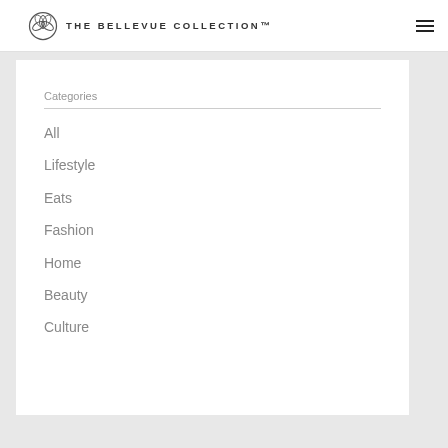THE BELLEVUE COLLECTION™
Categories
All
Lifestyle
Eats
Fashion
Home
Beauty
Culture